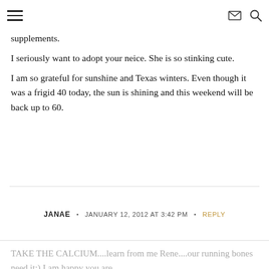navigation header with hamburger menu, envelope icon, and search icon
supplements.
I seriously want to adopt your neice. She is so stinking cute.
I am so grateful for sunshine and Texas winters. Even though it was a frigid 40 today, the sun is shining and this weekend will be back up to 60.
JANAE • JANUARY 12, 2012 AT 3:42 PM • REPLY
TAKE THE CALCIUM....learn from me Rene....our running bones need it:) I am happy you are